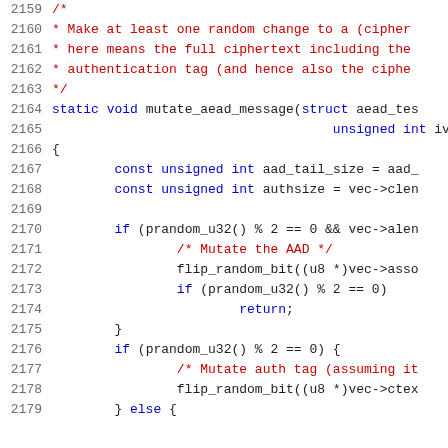Source code listing, lines 2159-2179, showing mutate_aead_message function in C